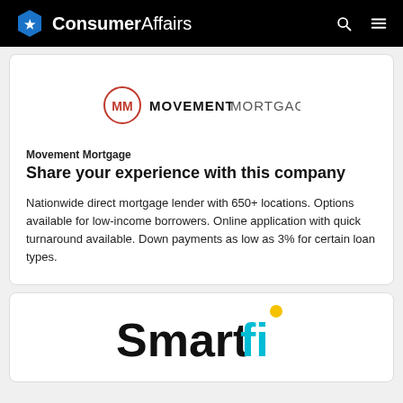ConsumerAffairs
[Figure (logo): Movement Mortgage logo — circle with MM initials in red, followed by MOVEMENTMORTGAGE in bold black text]
Movement Mortgage
Share your experience with this company
Nationwide direct mortgage lender with 650+ locations. Options available for low-income borrowers. Online application with quick turnaround available. Down payments as low as 3% for certain loan types.
[Figure (logo): Smartfi logo — black text 'Smart' followed by 'fi' in cyan/teal with a yellow dot above the i]